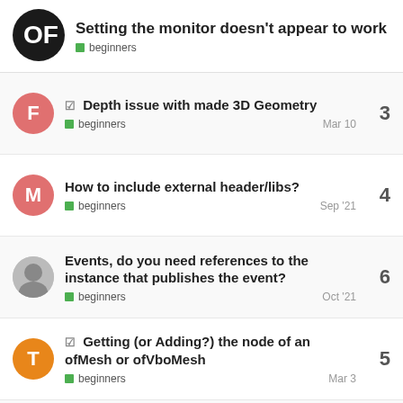Setting the monitor doesn't appear to work | beginners
Depth issue with made 3D Geometry | beginners | Mar 10 | 3 replies
How to include external header/libs? | beginners | Sep '21 | 4 replies
Events, do you need references to the instance that publishes the event? | beginners | Oct '21 | 6 replies
Getting (or Adding?) the node of an ofMesh or ofVboMesh | beginners | Mar 3 | 5 replies
Is it possible to use OpenFrameworks on android? | beginners | Mar 12 | 3 replies